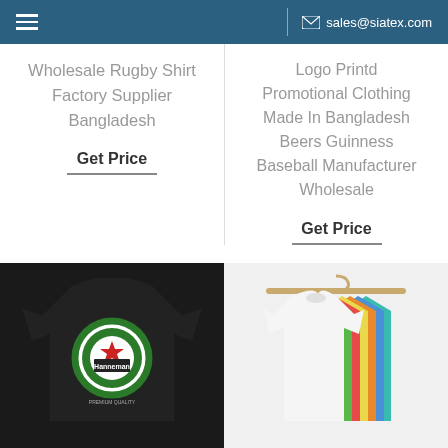☰  sales@siatex.com
Wholesale Rugby Shirt Factory Supplier Bangladesh
Get Price
Logo Printd Promotional Clothing Made In Bangladesh Beers Guinness Baseball Manufacturer Wholesale
Get Price
[Figure (photo): Black t-shirt with Hanneman circular logo print]
[Figure (photo): Colorful t-shirts hanging on wooden hangers, white in front with rainbow colors behind]